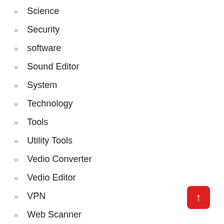Science
Security
software
Sound Editor
System
Technology
Tools
Utility Tools
Vedio Converter
Vedio Editor
VPN
Web Scanner